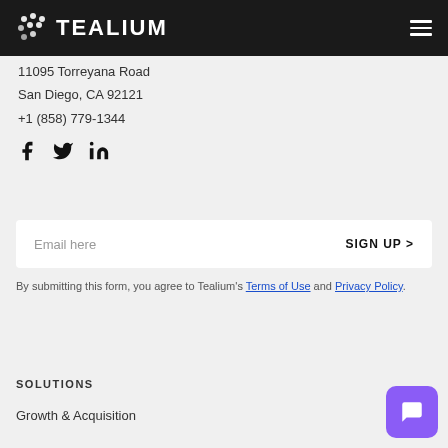Tealium
11095 Torreyana Road
San Diego, CA 92121
+1 (858) 779-1344
[Figure (illustration): Social media icons: Facebook, Twitter, LinkedIn]
Email here   SIGN UP >
By submitting this form, you agree to Tealium's Terms of Use and Privacy Policy.
SOLUTIONS
Growth & Acquisition